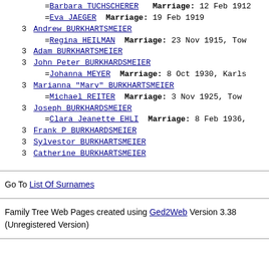=Barbara TUCHSCHERER   Marriage: 12 Feb 1912
=Eva JAEGER   Marriage: 19 Feb 1919
3 Andrew BURKHARTSMEIER
=Regina HEILMAN   Marriage: 23 Nov 1915, Tow
3 Adam BURKHARTSMEIER
3 John Peter BURKHARDSMEIER
=Johanna MEYER   Marriage: 8 Oct 1930, Karls
3 Marianna "Mary" BURKHARTSMEIER
=Michael REITER   Marriage: 3 Nov 1925, Tow
3 Joseph BURKHARDSMEIER
=Clara Jeanette EHLI   Marriage: 8 Feb 1936,
3 Frank P BURKHARDSMEIER
3 Sylvestor BURKHARTSMEIER
3 Catherine BURKHARTSMEIER
Go To List Of Surnames
Family Tree Web Pages created using Ged2Web Version 3.38 (Unregistered Version)